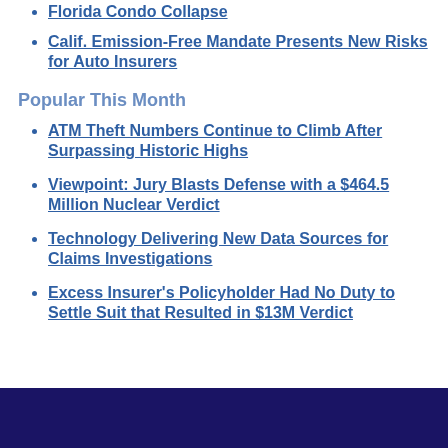Florida Condo Collapse
Calif. Emission-Free Mandate Presents New Risks for Auto Insurers
Popular This Month
ATM Theft Numbers Continue to Climb After Surpassing Historic Highs
Viewpoint: Jury Blasts Defense with a $464.5 Million Nuclear Verdict
Technology Delivering New Data Sources for Claims Investigations
Excess Insurer's Policyholder Had No Duty to Settle Suit that Resulted in $13M Verdict